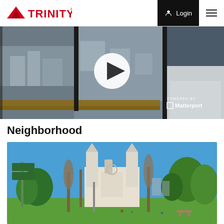TRINITY
[Figure (screenshot): Interior virtual tour image showing apartment window view of city rooftops, with a play button overlay and 'POWERED BY Matterport' branding at the bottom right.]
Neighborhood
[Figure (photo): Outdoor neighborhood photo showing Washington Square Park in San Francisco with Saints Peter and Paul Church in the background, green trees, blue sky, and people on the lawn.]